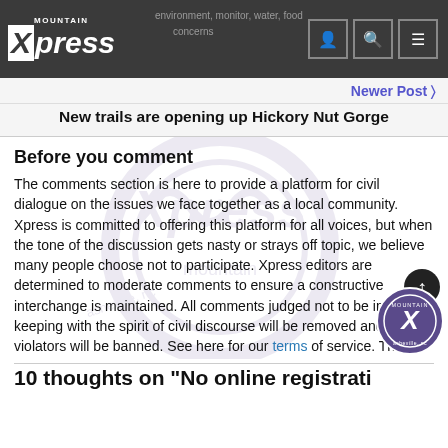Mountain Xpress
Newer Post >
New trails are opening up Hickory Nut Gorge
Before you comment
The comments section is here to provide a platform for civil dialogue on the issues we face together as a local community. Xpress is committed to offering this platform for all voices, but when the tone of the discussion gets nasty or strays off topic, we believe many people choose not to participate. Xpress editors are determined to moderate comments to ensure a constructive interchange is maintained. All comments judged not to be in keeping with the spirit of civil discourse will be removed and repeat violators will be banned. See here for our terms of service. Thank you for being part of this effort to promote respectful discussion.